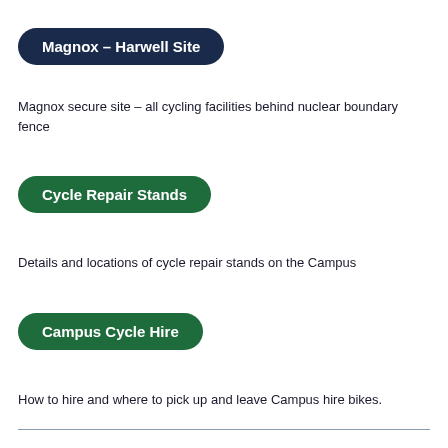Magnox – Harwell Site
Magnox secure site – all cycling facilities behind nuclear boundary fence
Cycle Repair Stands
Details and locations of cycle repair stands on the Campus
Campus Cycle Hire
How to hire and where to pick up and leave Campus hire bikes.